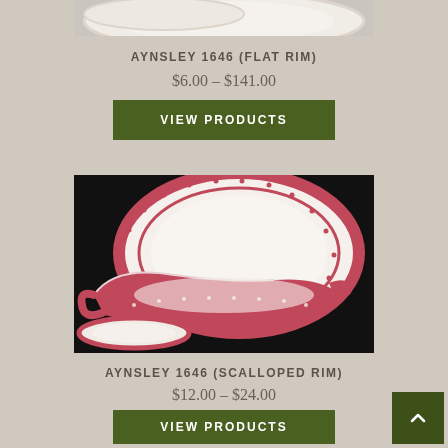[Figure (photo): Partial top view of Aynsley 1646 flat rim china dinnerware on beige background]
AYNSLEY 1646 (FLAT RIM)
$6.00 – $141.00
VIEW PRODUCTS
[Figure (photo): Aynsley 1646 scalloped rim china dinnerware including plates and gravy boat with pink/red rim decoration on dark background]
AYNSLEY 1646 (SCALLOPED RIM)
$12.00 – $24.00
VIEW PRODUCTS